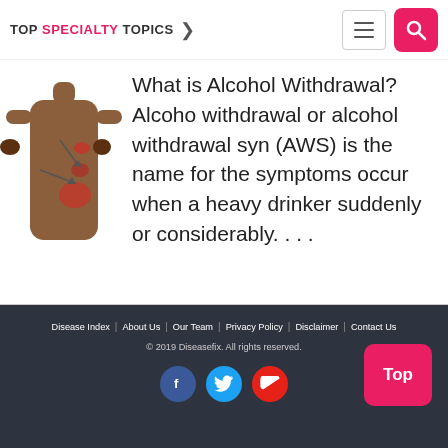TOP SPECIALTY TOPICS
[Figure (illustration): Medical illustration of human torso showing digestive organs, with arrows pointing to stomach and other organs]
What is Alcohol Withdrawal? Alcohol withdrawal or alcohol withdrawal syndrome (AWS) is the name for the symptoms that occur when a heavy drinker suddenly stops or considerably. . . .
Disease Index | About Us | Our Team | Privacy Policy | Disclaimer | Contact Us
© 2019 Diseasefix. All rights reserved.